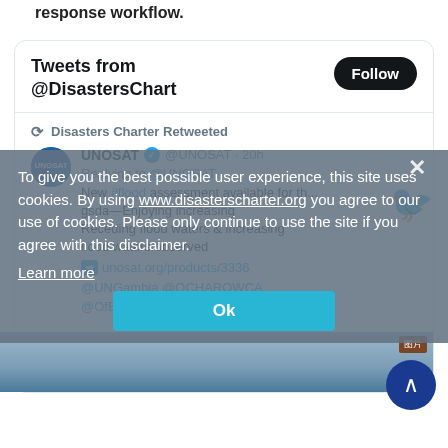response workflow.
[Figure (screenshot): Twitter/X embedded widget showing Tweets from @DisastersChart with a Follow button, containing a retweeted UNOSAT post about a new flood assessment for Gambia with mentions of @UNGambia @OCHAROWCA @OfEnvironment1 @Disasterschart @esa and a partially visible flood image.]
To give you the best possible user experience, this site uses cookies. By using www.disasterscharter.org you agree to our use of cookies. Please only continue to use the site if you agree with this disclaimer.
Learn more
Ok